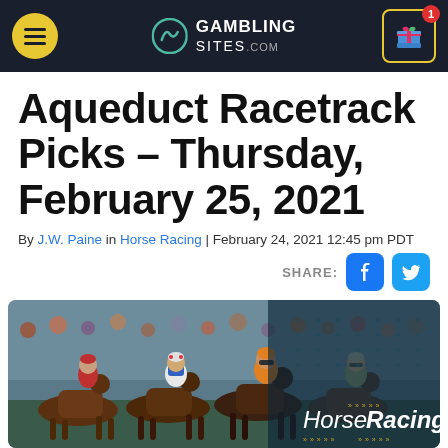GambingSites.com navigation bar
Aqueduct Racetrack Picks – Thursday, February 25, 2021
By J.W. Paine in Horse Racing | February 24, 2021 12:45 pm PDT
[Figure (photo): Horse racing photo showing multiple jockeys racing, with a 'Horse Racing' banner overlay in the bottom right corner on a dark teal background with dot pattern.]